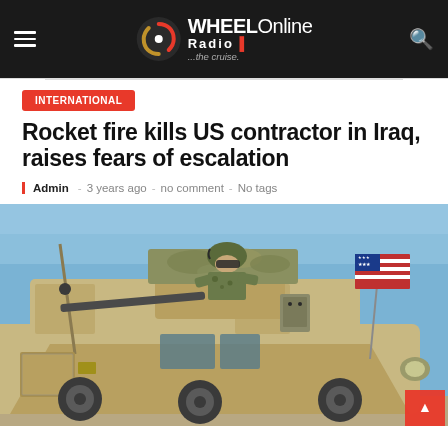WHEEL Online Radio ...the cruise.
INTERNATIONAL
Rocket fire kills US contractor in Iraq, raises fears of escalation
Admin - 3 years ago - no comment - No tags
[Figure (photo): Military armored vehicle (MRAP) with a soldier manning a gun turret, US flag visible on the right side, desert/arid environment, blue sky background.]